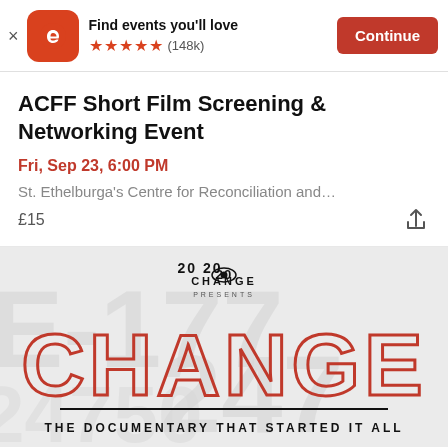[Figure (screenshot): Eventbrite app banner with orange 'e' logo, star rating (148k reviews), and 'Continue' button]
ACFF Short Film Screening & Networking Event
Fri, Sep 23, 6:00 PM
St. Ethelburga's Centre for Reconciliation and...
£15
[Figure (illustration): Movie poster for 'CHANGE – The Documentary That Started It All', presented by 2020 CHANGE. Large red outlined CHANGE text on grey background with watermark numbers.]